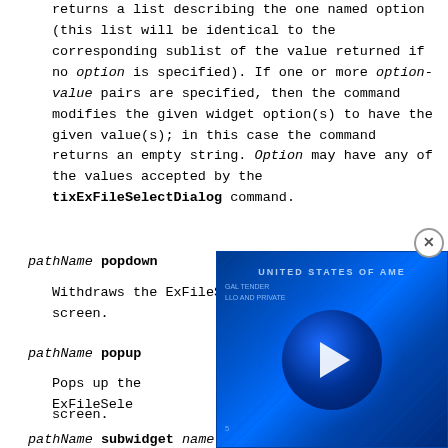returns a list describing the one named option (this list will be identical to the corresponding sublist of the value returned if no option is specified). If one or more option-value pairs are specified, then the command modifies the given widget option(s) to have the given value(s); in this case the command returns an empty string. Option may have any of the values accepted by the tixExFileSelectDialog command.
pathName popdown
Withdraws the ExFileSelectDialog from the screen.
pathName popup
Pops up the ExFileSelect... screen.
pathName subwidget name
[Figure (screenshot): Video player overlay showing a US dollar bill background in blue tones with a play button circle in the center. A close (X) button is at the top right corner.]